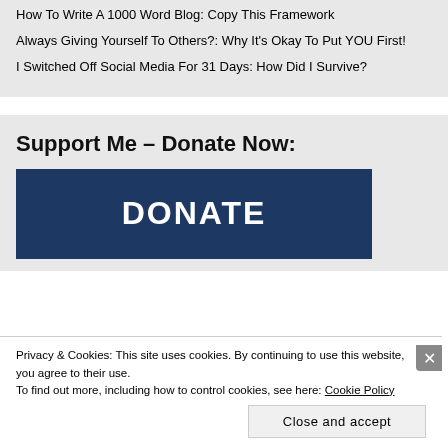How To Write A 1000 Word Blog: Copy This Framework
Always Giving Yourself To Others?: Why It's Okay To Put YOU First!
I Switched Off Social Media For 31 Days: How Did I Survive?
Support Me – Donate Now:
[Figure (other): Dark navy blue donate button with bold white text reading DONATE]
Privacy & Cookies: This site uses cookies. By continuing to use this website, you agree to their use.
To find out more, including how to control cookies, see here: Cookie Policy
Close and accept